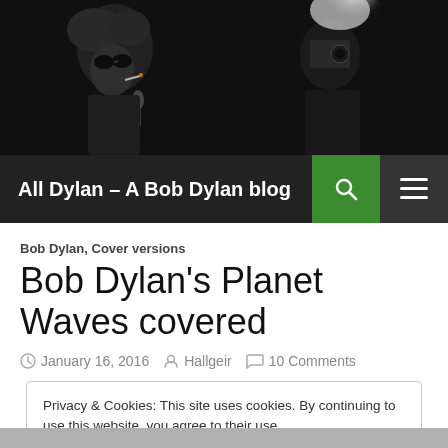[Figure (photo): Black and white photo of Bob Dylan with sunglasses and cigarette at a microphone, with photographer in background]
All Dylan – A Bob Dylan blog
Bob Dylan, Cover versions
Bob Dylan's Planet Waves covered
January 16, 2016  Hallgeir  10 Comments
Privacy & Cookies: This site uses cookies. By continuing to use this website, you agree to their use.
To find out more, including how to control cookies, see here: Cookie Policy
Close and accept